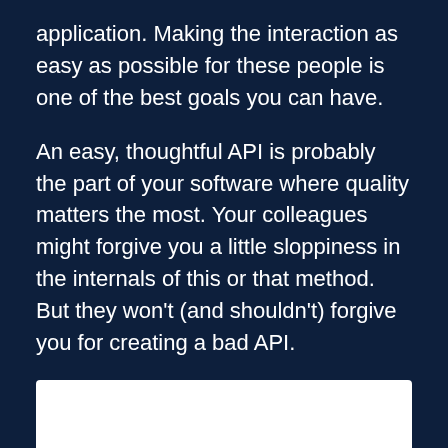application. Making the interaction as easy as possible for these people is one of the best goals you can have.
An easy, thoughtful API is probably the part of your software where quality matters the most. Your colleagues might forgive you a little sloppiness in the internals of this or that method. But they won't (and shouldn't) forgive you for creating a bad API.
Design Patterns
[Figure (other): White box partially visible at the bottom of the page]